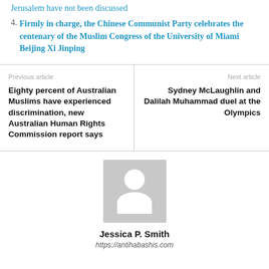Jerusalem have not been discussed
4. Firmly in charge, the Chinese Communist Party celebrates the centenary of the Muslim Congress of the University of Miami Beijing Xi Jinping
Previous article
Eighty percent of Australian Muslims have experienced discrimination, new Australian Human Rights Commission report says
Next article
Sydney McLaughlin and Dalilah Muhammad duel at the Olympics
[Figure (illustration): Generic avatar placeholder image showing a grey silhouette of a person]
Jessica P. Smith
https://antihabashis.com